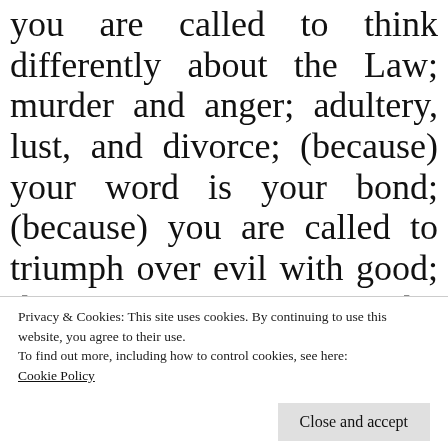you are called to think differently about the Law; murder and anger; adultery, lust, and divorce; (because) your word is your bond; (because) you are called to triumph over evil with good;(because) you are to be anonymously generous; (because) you are to be a person of prayer and
Privacy & Cookies: This site uses cookies. By continuing to use this website, you agree to their use.
To find out more, including how to control cookies, see here:
Cookie Policy
Close and accept
two masters; therefore, do not worry!